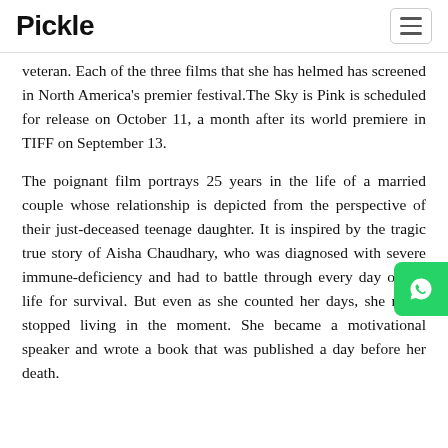Pickle
veteran. Each of the three films that she has helmed has screened in North America's premier festival.The Sky is Pink is scheduled for release on October 11, a month after its world premiere in TIFF on September 13.
The poignant film portrays 25 years in the life of a married couple whose relationship is depicted from the perspective of their just-deceased teenage daughter. It is inspired by the tragic true story of Aisha Chaudhary, who was diagnosed with severe immune-deficiency and had to battle through every day of her life for survival. But even as she counted her days, she never stopped living in the moment. She became a motivational speaker and wrote a book that was published a day before her death.